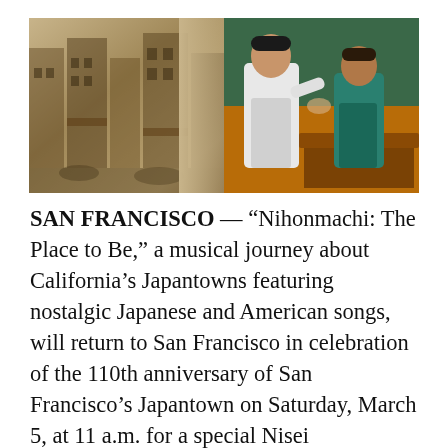[Figure (photo): Composite image: left half shows a sepia-toned historical street scene of a Japantown neighborhood with Victorian-style buildings; right half shows two men in aprons/chef attire interacting on what appears to be a stage set.]
SAN FRANCISCO — “Nihonmachi: The Place to Be,” a musical journey about California’s Japantowns featuring nostalgic Japanese and American songs, will return to San Francisco in celebration of the 110th anniversary of San Francisco’s Japantown on Saturday, March 5, at 11 a.m. for a special Nisei Appreciation Luncheon Show and Sunday, March 6, at 2 p.m. at the Japanese Cultural and Community Center